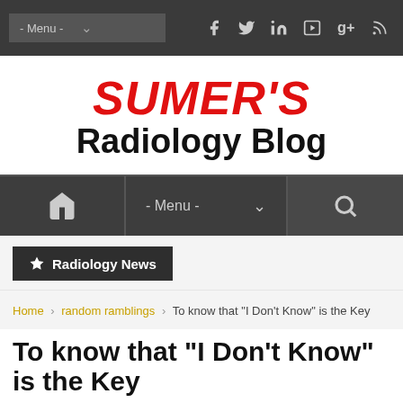- Menu - | Social icons: Facebook, Twitter, LinkedIn, YouTube, Google+, RSS
SUMER'S Radiology Blog
Home icon | - Menu - dropdown | Search icon
Radiology News
Home > random ramblings > To know that "I Don't Know" is the Key
To know that "I Don't Know" is the Key